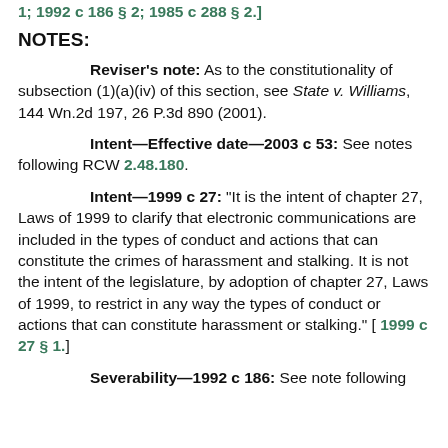1; 1992 c 186 § 2; 1985 c 288 § 2.]
NOTES:
Reviser's note: As to the constitutionality of subsection (1)(a)(iv) of this section, see State v. Williams, 144 Wn.2d 197, 26 P.3d 890 (2001).
Intent—Effective date—2003 c 53: See notes following RCW 2.48.180.
Intent—1999 c 27: "It is the intent of chapter 27, Laws of 1999 to clarify that electronic communications are included in the types of conduct and actions that can constitute the crimes of harassment and stalking. It is not the intent of the legislature, by adoption of chapter 27, Laws of 1999, to restrict in any way the types of conduct or actions that can constitute harassment or stalking." [ 1999 c 27 § 1.]
Severability—1992 c 186: See note following